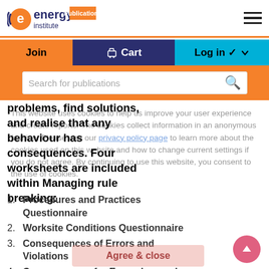Energy Institute Publications
Join | Cart | Log in
Search for publications
problems, find solutions, and realise that any behaviour has consequences. Four worksheets are included within Managing rule breaking:
This website uses cookies to help us improve your user experience and create reports. The cookies collect information in an anonymous fashion. Please visit our privacy policy page to learn more about the cookies used on this website and how to change current settings if you do not agree. By continuing to use this website, you consent to the use of cookies.
1. Procedures and Practices Questionnaire
2. Worksite Conditions Questionnaire
3. Consequences of Errors and Violations
4. Consequences for Exemplary and Expected behaviours